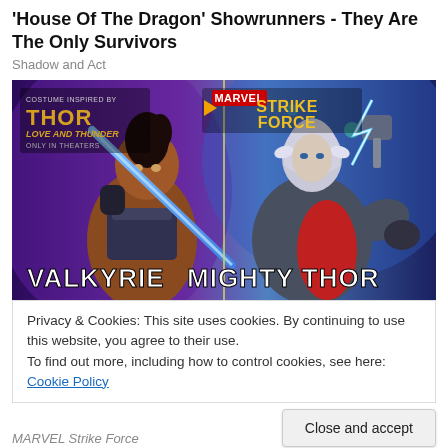'House Of The Dragon' Showrunners - They Are The Only Survivors
Shadow and Act
[Figure (photo): Marvel Strike Force promotional image showing two characters: Valkyrie (left) holding a sword, and Mighty Thor (right) with lightning. Thor: Love and Thunder branding visible in top left corner. MARVEL Strike Force logo in center top.]
Privacy & Cookies: This site uses cookies. By continuing to use this website, you agree to their use.
To find out more, including how to control cookies, see here: Cookie Policy
Close and accept
MARVEL Strike Force